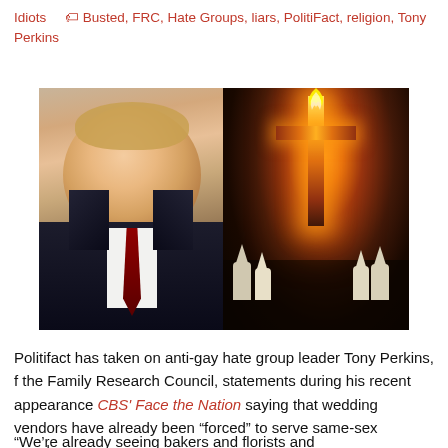Idiots   🏷 Busted, FRC, Hate Groups, liars, PolitiFact, religion, Tony Perkins
[Figure (photo): Two side-by-side photos: left shows a smiling man in a dark suit with a red tie; right shows a burning cross at night with robed figures in the background.]
Politifact has taken on anti-gay hate group leader Tony Perkins, f the Family Research Council, statements during his recent appearance CBS' Face the Nation saying that wedding vendors have already been "forced" to serve same-sex couples.
"We're already seeing bakers and florists and